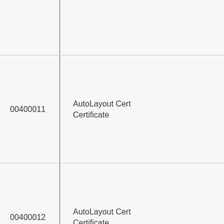| ID | Type | Description |
| --- | --- | --- |
|  |  |  |
| 00400011 | AutoLayout Cert Certificate |  |
| 00400012 | AutoLayout Cert Certificate |  |
| 4024 | Definitions for e |  |